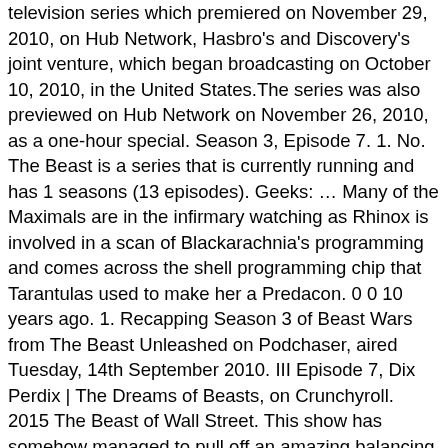television series which premiered on November 29, 2010, on Hub Network, Hasbro's and Discovery's joint venture, which began broadcasting on October 10, 2010, in the United States.The series was also previewed on Hub Network on November 26, 2010, as a one-hour special. Season 3, Episode 7. 1. No. The Beast is a series that is currently running and has 1 seasons (13 episodes). Geeks: … Many of the Maximals are in the infirmary watching as Rhinox is involved in a scan of Blackarachnia's programming and comes across the shell programming chip that Tarantulas used to make her a Predacon. 0 0 10 years ago. 1. Recapping Season 3 of Beast Wars from The Beast Unleashed on Podchaser, aired Tuesday, 14th September 2010. III Episode 7, Dix Perdix | The Dreams of Beasts, on Crunchyroll. 2015 The Beast of Wall Street. This show has somehow managed to pull off an amazing balancing act. The show was succeeded by Star Wars Rebels, which … When the Republic detonates a powerful electro-proton bomb to settle the battle of Malastare, it accidentally wakens an ancient and thought to be extinct Zillo Beast. Year: Season 7. in season Title Directed by Written by Original air date Prod. The complete guide by MSN. Season 3. TV Schedule. Episode List; TV Schedule; Details. Far out in the outer reaches of space, it is the Vok who have taken Airazor